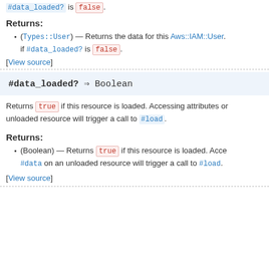Returns the data for this AWS::IAM::User. Calls client#get if #data_loaded? is false.
Returns:
(Types::User) — Returns the data for this Aws::IAM::User. Calls #data on an unloaded resource if #data_loaded? is false.
[View source]
#data_loaded? ⇒ Boolean
Returns true if this resource is loaded. Accessing attributes or #data on an unloaded resource will trigger a call to #load.
Returns:
(Boolean) — Returns true if this resource is loaded. Accessing attributes or #data on an unloaded resource will trigger a call to #load.
[View source]